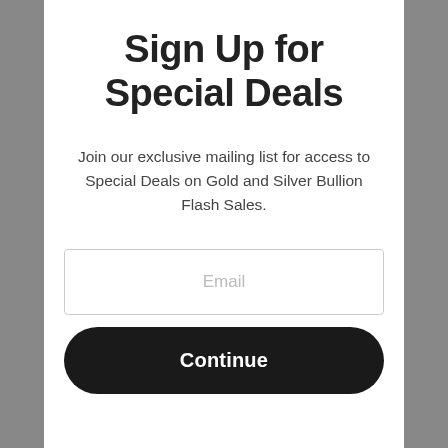Sign Up for Special Deals
Join our exclusive mailing list for access to Special Deals on Gold and Silver Bullion Flash Sales.
Email
Continue